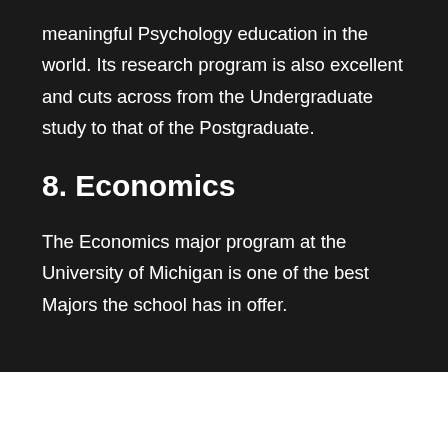meaningful Psychology education in the world. Its research program is also excellent and cuts across from the Undergraduate study to that of the Postgraduate.
8. Economics
The Economics major program at the University of Michigan is one of the best Majors the school has in offer.